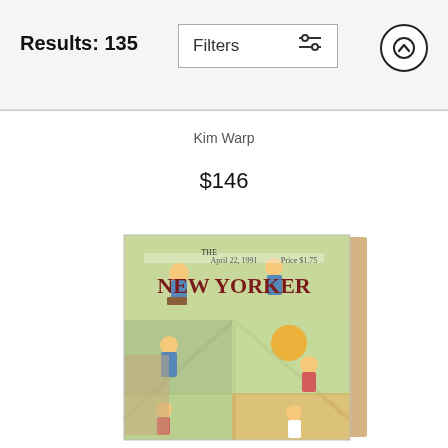Results: 135
Filters
Kim Warp
$146
[Figure (photo): A New Yorker magazine cover dated April 22, 1991, Price $1.75, showing multiple illustrated panels of people gardening in different scenes, rendered as a printed canvas/wood print product.]